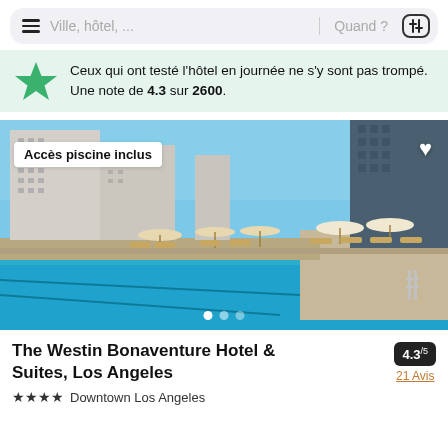Ville, hôtel, ... | Quand ?
Ceux qui ont testé l'hôtel en journée ne s'y sont pas trompé. Une note de 4.3 sur 2600.
[Figure (photo): Hotel rooftop pool with lounge chairs and umbrellas, downtown Los Angeles skyscrapers in background, clear blue sky]
The Westin Bonaventure Hotel & Suites, Los Angeles
4.3/5 — 21 Avis
★★★★ Downtown Los Angeles